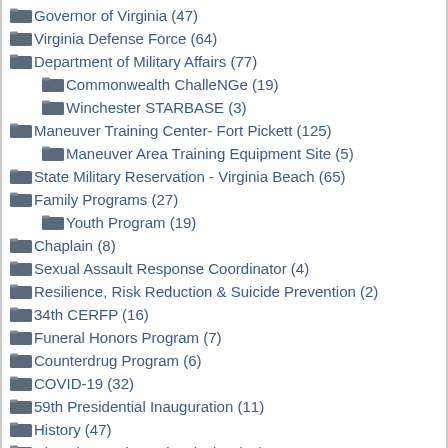Governor of Virginia (47)
Virginia Defense Force (64)
Department of Military Affairs (77)
Commonwealth ChalleNGe (19)
Winchester STARBASE (3)
Maneuver Training Center- Fort Pickett (125)
Maneuver Area Training Equipment Site (5)
State Military Reservation - Virginia Beach (65)
Family Programs (27)
Youth Program (19)
Chaplain (8)
Sexual Assault Response Coordinator (4)
Resilience, Risk Reduction & Suicide Prevention (2)
34th CERFP (16)
Funeral Honors Program (7)
Counterdrug Program (6)
COVID-19 (32)
59th Presidential Inauguration (11)
History (47)
Diversity, Equity and Inclusion (34)
Women's History Month (8)
Black History Month (8)
Hispanic Heritage Month (5)